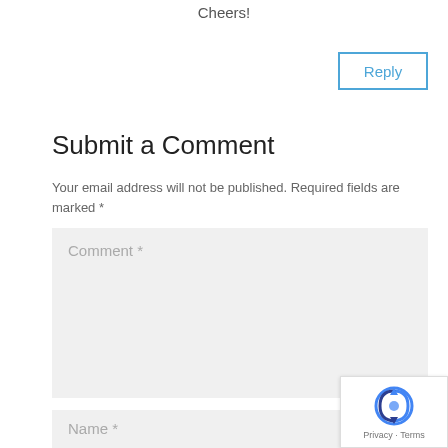Cheers!
Reply
Submit a Comment
Your email address will not be published. Required fields are marked *
Comment *
Name *